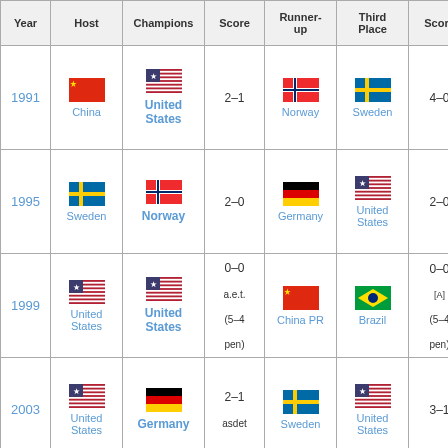| Year | Host | Champions | Score | Runner-up | Third Place | Score |
| --- | --- | --- | --- | --- | --- | --- |
| 1991 | China | United States | 2–1 | Norway | Sweden | 4–0 |
| 1995 | Sweden | Norway | 2–0 | Germany | United States | 2–0 |
| 1999 | United States | United States | 0–0 a.e.t. (5–4 pen) | China PR | Brazil | 0–0 [A] (5–4 pen) |
| 2003 | United States | Germany | 2–1 asdet | Sweden | United States | 3–1 |